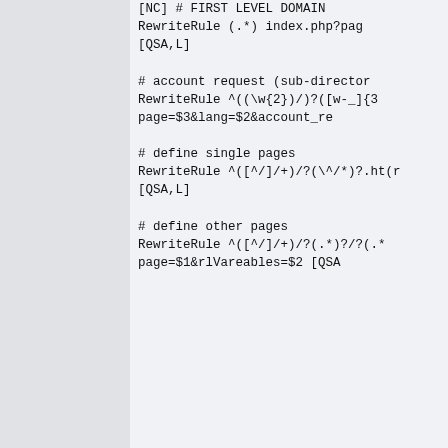[NC] # FIRST LEVEL DOMAIN
RewriteRule (.*) index.php?pag
[QSA,L]

# account request (sub-director
RewriteRule ^((\w{2})/)?([w-_]{3
page=$3&lang=$2&account_re

# define single pages
RewriteRule ^([^/]/+)/?(\/*)?.ht(r
[QSA,L]

# define other pages
RewriteRule ^([^/]/+)/?(.*)?/?(.*
page=$1&rlVareables=$2 [QSA
January 11, 2017, 11:26 PM
Jafar Mohammad
Junior Member
Join Date: Jan 2017
Posts: 5
Same problem, but for all pages appears, another times not. I th